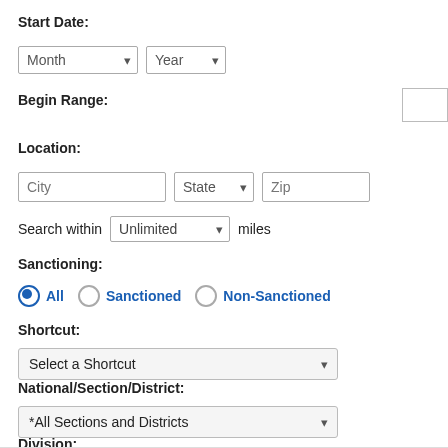Start Date:
Month / Year dropdowns
Begin Range:
Location:
City / State / Zip fields
Search within Unlimited miles
Sanctioning:
All  Sanctioned  Non-Sanctioned (radio buttons)
Shortcut:
Select a Shortcut dropdown
National/Section/District:
*All Sections and Districts dropdown
Division: